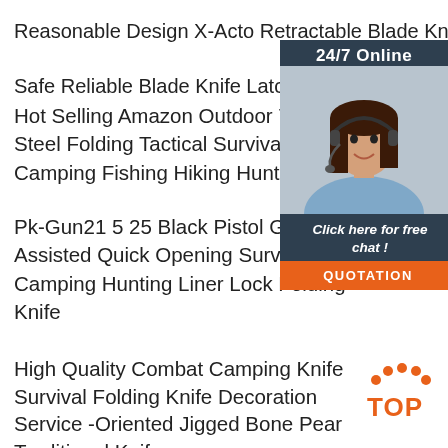Reasonable Design X-Acto Retractable Blade Knife
Safe Reliable Blade Knife Latch
Hot Selling Amazon Outdoor 7cr Stainless Steel Folding Tactical Survival Knife Camping Fishing Hiking Hunting Re
Pk-Gun21 5 25 Black Pistol Gun Sh Assisted Quick Opening Survival Ou Camping Hunting Liner Lock Folding Knife
High Quality Combat Camping Knife Survival Folding Knife Decoration
Service -Oriented Jigged Bone Pearl Traditional Knife
Titanium Alloy D2 Quartermaster Outdoor Multi-Function Field Self-Defense Survival Hunting Knife
Knife Blade 304 Stainless
Complete Specificationslaguiole L Eclair Pocket Knife
[Figure (photo): Customer service representative woman with headset, sidebar with '24/7 Online' header, 'Click here for free chat!' text, and orange QUOTATION button]
[Figure (illustration): Orange TOP button with dots above it in bottom right corner]